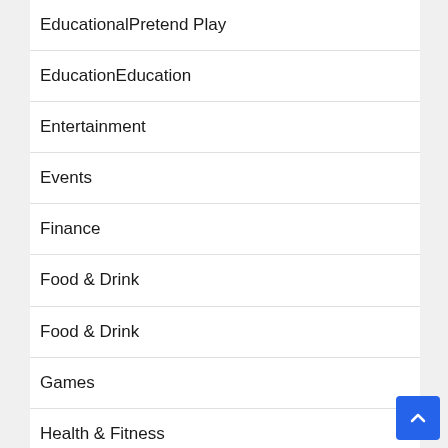EducationalPretend Play
EducationEducation
Entertainment
Events
Finance
Food & Drink
Food & Drink
Games
Health & Fitness